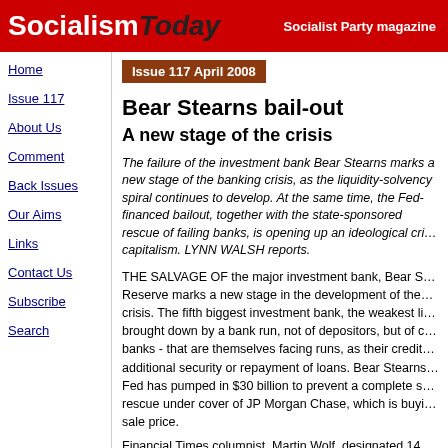Socialism Today — Socialist Party magazine
Home
Issue 117
About Us
Comment
Back Issues
Our Aims
Links
Contact Us
Subscribe
Search
Issue 117 April 2008
Bear Stearns bail-out
A new stage of the crisis
The failure of the investment bank Bear Stearns marks a new stage of the banking crisis, as the liquidity-solvency spiral continues to develop. At the same time, the Fed-financed bailout, together with the state-sponsored rescue of failing banks, is opening up an ideological crisis of free-market capitalism. LYNN WALSH reports.
THE SALVAGE OF the major investment bank, Bear Stearns, by the Federal Reserve marks a new stage in the development of the global financial crisis. The fifth biggest investment bank, the weakest link in the chain, was brought down by a bank run, not of depositors, but of creditors — other banks - that are themselves facing runs, as their creditors demand additional security or repayment of loans. Bear Stearns collapsed, and the Fed has pumped in $30 billion to prevent a complete shutdown, staging a rescue under cover of JP Morgan Chase, which is buying the bank at a fire-sale price.
Financial Times columnist, Martin Wolf, designated 14 March as the day of global free-market capitalism died… By its decision to rescue Bear Stearns, the Federal Reserve, the institution responsible for moneta